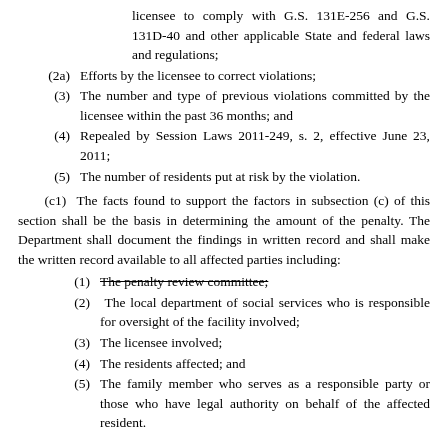licensee to comply with G.S. 131E-256 and G.S. 131D-40 and other applicable State and federal laws and regulations;
(2a) Efforts by the licensee to correct violations;
(3) The number and type of previous violations committed by the licensee within the past 36 months; and
(4) Repealed by Session Laws 2011-249, s. 2, effective June 23, 2011;
(5) The number of residents put at risk by the violation.
(c1) The facts found to support the factors in subsection (c) of this section shall be the basis in determining the amount of the penalty. The Department shall document the findings in written record and shall make the written record available to all affected parties including:
(1) The penalty review committee;
(2) The local department of social services who is responsible for oversight of the facility involved;
(3) The licensee involved;
(4) The residents affected; and
(5) The family member who serves as a responsible party or those who have legal authority on behalf of the affected resident.